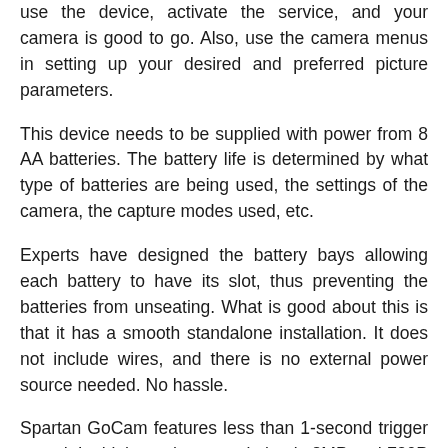use the device, activate the service, and your camera is good to go. Also, use the camera menus in setting up your desired and preferred picture parameters.
This device needs to be supplied with power from 8 AA batteries. The battery life is determined by what type of batteries are being used, the settings of the camera, the capture modes used, etc.
Experts have designed the battery bays allowing each battery to have its slot, thus preventing the batteries from unseating. What is good about this is that it has a smooth standalone installation. It does not include wires, and there is no external power source needed. No hassle.
Spartan GoCam features less than 1-second trigger speed. Its highest photo resolution is 8MP and 720P for the video. It does not produce flash when taking pictures at night. If your